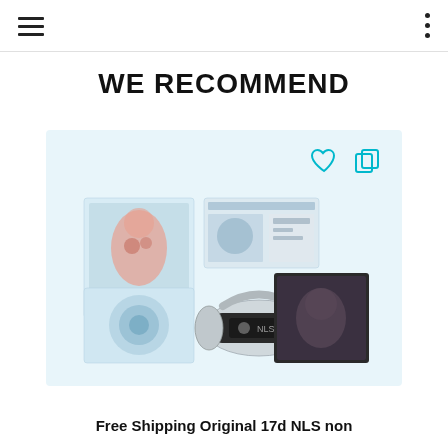WE RECOMMEND
[Figure (photo): Product card with light blue background showing NLS bioresonance headset device alongside medical anatomy software screenshots on screen. Heart/wishlist icon and copy icon visible in top right of card.]
Free Shipping Original 17d NLS non